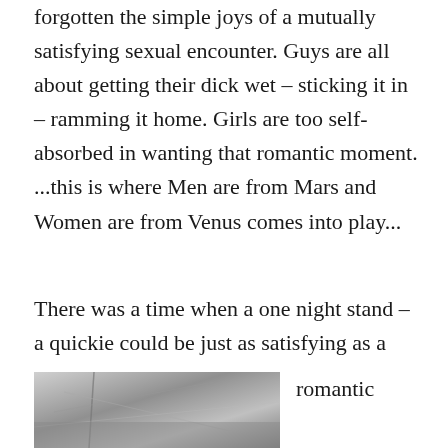forgotten the simple joys of a mutually satisfying sexual encounter. Guys are all about getting their dick wet – sticking it in – ramming it home. Girls are too self-absorbed in wanting that romantic moment. ...this is where Men are from Mars and Women are from Venus comes into play...
There was a time when a one night stand – a quickie could be just as satisfying as a romantic rendezvous.
[Figure (photo): Black and white photo, abstract interior scene with light streaks]